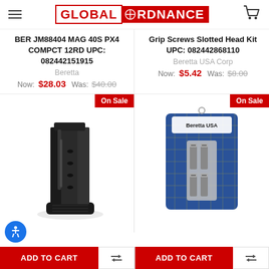Global Ordnance
BER JM88404 MAG 40S PX4 COMPCT 12RD UPC: 082442151915
Beretta
Now: $28.03  Was: $40.00
Grip Screws Slotted Head Kit UPC: 082442868110
Beretta USA Corp
Now: $5.42  Was: $8.00
[Figure (photo): Black pistol magazine (BER JM88404 MAG 40S PX4 COMPCT 12RD) with On Sale badge]
[Figure (photo): Beretta USA grip screws slotted head kit in blue packaging with On Sale badge]
ADD TO CART
ADD TO CART